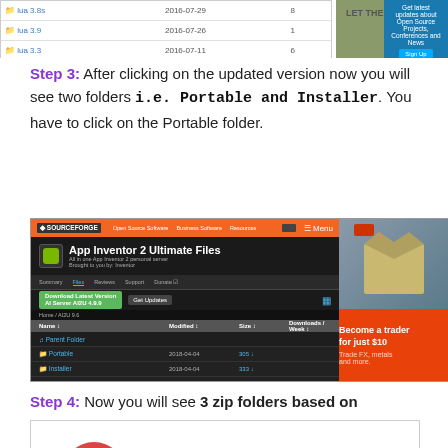[Figure (screenshot): Top portion of a SourceForge file listing table with rows showing lua versions and dates, alongside an advertisement banner]
Step 3: After clicking on the updated version now you will see two folders i.e. Portable and Installer. You have to click on the Portable folder.
[Figure (screenshot): SourceForge page for App Inventor 2 Ultimate Files showing file listing with Portable and Installer folders. Right side shows a trading advertisement: Become a trader for just $10, Trade FX, metals and more.]
Step 4: Now you will see 3 zip folders based on
[Figure (other): Advertisement for Petco: Buy Hill's Science Diet Kitten Food at Your Nearest Retailer]